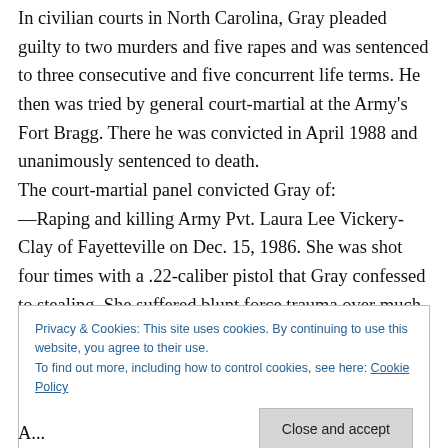In civilian courts in North Carolina, Gray pleaded guilty to two murders and five rapes and was sentenced to three consecutive and five concurrent life terms. He then was tried by general court-martial at the Army's Fort Bragg. There he was convicted in April 1988 and unanimously sentenced to death.
The court-martial panel convicted Gray of:
—Raping and killing Army Pvt. Laura Lee Vickery-Clay of Fayetteville on Dec. 15, 1986. She was shot four times with a .22-caliber pistol that Gray confessed to stealing. She suffered blunt force trauma over much of her body.
Privacy & Cookies: This site uses cookies. By continuing to use this website, you agree to their use. To find out more, including how to control cookies, see here: Cookie Policy
Close and accept
A...